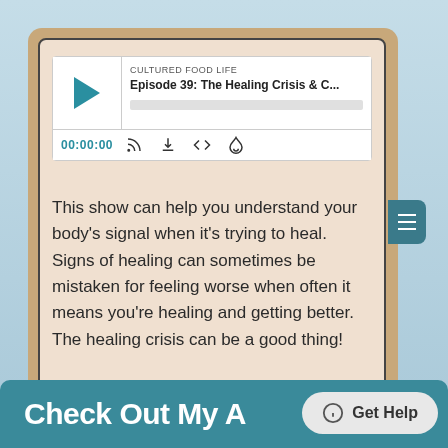[Figure (screenshot): Podcast player widget showing 'CULTURED FOOD LIFE' Episode 39: The Healing Crisis & C... with play button, progress bar, time 00:00:00, and media control icons (RSS, download, embed, share)]
This show can help you understand your body's signal when it's trying to heal. Signs of healing can sometimes be mistaken for feeling worse when often it means you're healing and getting better. The healing crisis can be a good thing!
Check Out My A...
Get Help